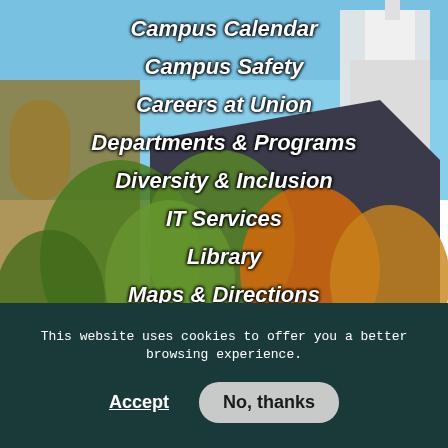[Figure (photo): Autumn campus scene with brick buildings, trees with fall foliage in orange and yellow, and a white church/chapel steeple visible in the background under a clear blue sky.]
Campus Calendar
Campus Safety
Careers at Union
Departments & Programs
Diversity & Inclusion
IT Services
Library
Maps & Directions
Office of the President
Offices & Services
This website uses cookies to offer you a better browsing experience.
Accept
No, thanks